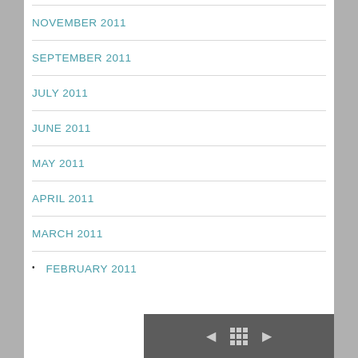NOVEMBER 2011
SEPTEMBER 2011
JULY 2011
JUNE 2011
MAY 2011
APRIL 2011
MARCH 2011
FEBRUARY 2011